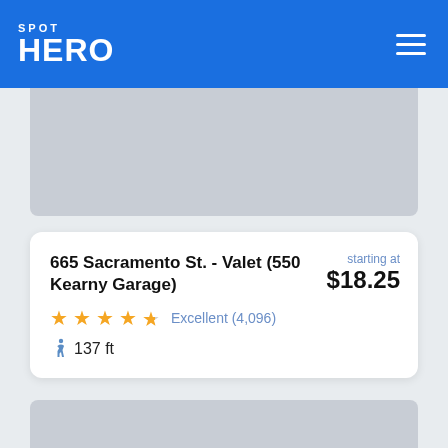SPOT HERO
[Figure (screenshot): Gray placeholder image block at top of listing]
665 Sacramento St. - Valet (550 Kearny Garage)
starting at $18.25
★★★★½ Excellent (4,096)
🚶 137 ft
[Figure (screenshot): Gray placeholder image block for second listing]